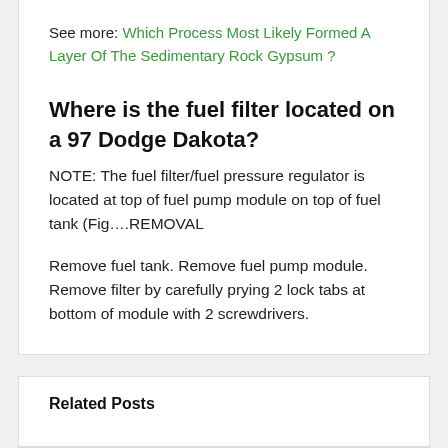See more: Which Process Most Likely Formed A Layer Of The Sedimentary Rock Gypsum ?
Where is the fuel filter located on a 97 Dodge Dakota?
NOTE: The fuel filter/fuel pressure regulator is located at top of fuel pump module on top of fuel tank (Fig….REMOVAL
Remove fuel tank. Remove fuel pump module. Remove filter by carefully prying 2 lock tabs at bottom of module with 2 screwdrivers.
Related Posts